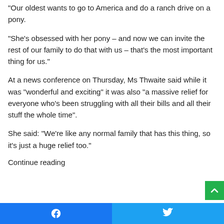“Our oldest wants to go to America and do a ranch drive on a pony.
“She’s obsessed with her pony – and now we can invite the rest of our family to do that with us – that’s the most important thing for us.”
At a news conference on Thursday, Ms Thwaite said while it was “wonderful and exciting” it was also “a massive relief for everyone who’s been struggling with all their bills and all their stuff the whole time”.
She said: “We’re like any normal family that has this thing, so it’s just a huge relief too.”
Continue reading
Facebook | Twitter